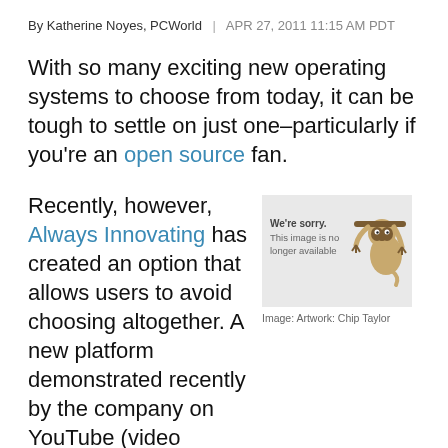By Katherine Noyes, PCWorld | APR 27, 2011 11:15 AM PDT
With so many exciting new operating systems to choose from today, it can be tough to settle on just one–particularly if you're an open source fan.
Recently, however, Always Innovating has created an option that allows users to avoid choosing altogether. A new platform demonstrated recently by the company on YouTube (video below) combines Canonical's Ubuntu and Google's Android and Chrome OS with its own, custom Linux-based operating system to offer a quad-boot alternative.
[Figure (illustration): Image placeholder showing 'We're sorry. This image is no longer available' with a cartoon sloth illustration. Caption: Image: Artwork: Chip Taylor]
Image: Artwork: Chip Taylor
Yes, that's four operating systems in one,